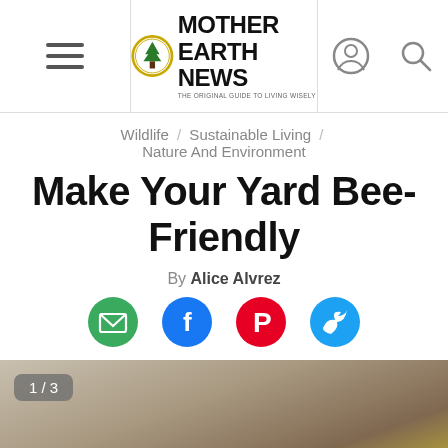Mother Earth News — THE ORIGINAL GUIDE TO LIVING WISELY
Wildlife / Sustainable Living / Nature And Environment
Make Your Yard Bee-Friendly
By Alice Alvrez
[Figure (illustration): Social sharing icons: email (green), Facebook (blue), Pinterest (red), Twitter (blue)]
[Figure (photo): Close-up photo of a bee, image 1 of 3, with blurred background]